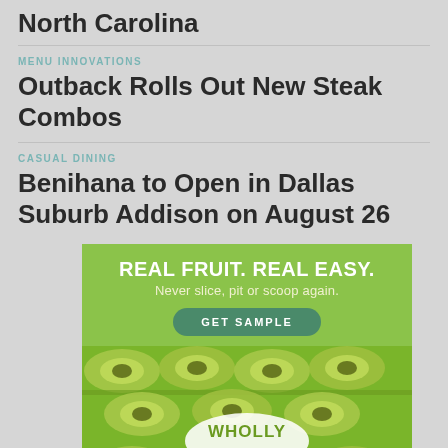North Carolina
MENU INNOVATIONS
Outback Rolls Out New Steak Combos
CASUAL DINING
Benihana to Open in Dallas Suburb Addison on August 26
[Figure (illustration): Wholly Avocado advertisement with green background showing stacked avocado halves and the text REAL FRUIT. REAL EASY. Never slice, pit or scoop again. GET SAMPLE button and WHOLLY AVOCADO logo]